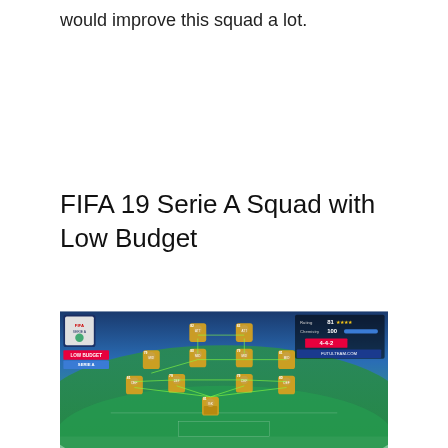would improve this squad a lot.
FIFA 19 Serie A Squad with Low Budget
[Figure (screenshot): FIFA 19 Ultimate Team screenshot showing a Serie A squad with Low Budget label in a 4-4-2 formation on a football pitch, with player cards arranged on the field, Serie A badge, rating 81, chemistry 100, formation 4-4-2, futulteam.com watermark.]